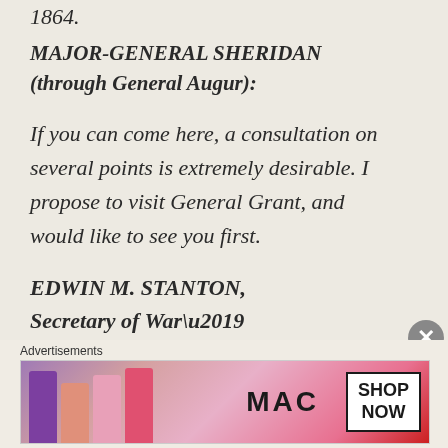1864.
MAJOR-GENERAL SHERIDAN (through General Augur):
If you can come here, a consultation on several points is extremely desirable. I propose to visit General Grant, and would like to see you first.
EDWIN M. STANTON, Secretary of War’
I got all ready to comply with the terms of Secretary Stanton’s despatch [sic], but in the meantime the enemy